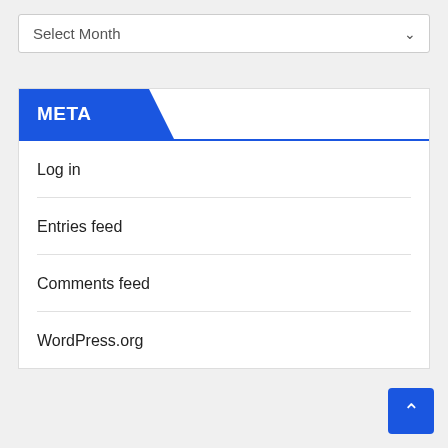[Figure (screenshot): A dropdown selector labeled 'Select Month' with a downward chevron icon on the right, styled with a light gray border.]
META
Log in
Entries feed
Comments feed
WordPress.org